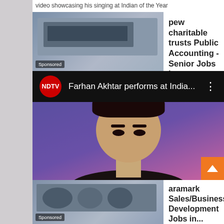video showcasing his singing at Indian of the Year
[Figure (screenshot): Sponsored ad: pew charitable trusts Public Accounting - Senior Jobs in..., jobble.com, with laptop image]
[Figure (screenshot): NDTV YouTube video thumbnail: Farhan Akhtar performs at India... with person's face on purple/pink background]
[Figure (screenshot): Sponsored ad: aramark Sales/Business Development Jobs in..., jobble.com, with meeting room image]